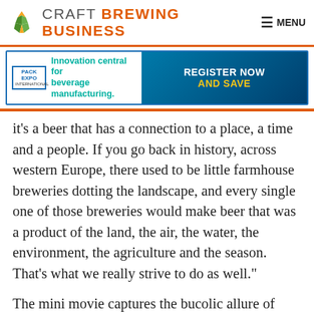CRAFT BREWING BUSINESS  MENU
[Figure (other): Pack Expo International advertisement banner: 'Innovation central for beverage manufacturing. REGISTER NOW AND SAVE']
it’s a beer that has a connection to a place, a time and a people. If you go back in history, across western Europe, there used to be little farmhouse breweries dotting the landscape, and every single one of those breweries would make beer that was a product of the land, the air, the water, the environment, the agriculture and the season. That’s what we really strive to do as well.”
The mini movie captures the bucolic allure of Jester King’s farmhouse beer destination